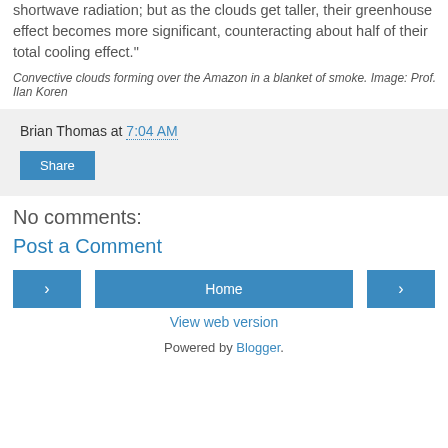shortwave radiation; but as the clouds get taller, their greenhouse effect becomes more significant, counteracting about half of their total cooling effect."
Convective clouds forming over the Amazon in a blanket of smoke. Image: Prof. Ilan Koren
Brian Thomas at 7:04 AM
Share
No comments:
Post a Comment
Home
View web version
Powered by Blogger.